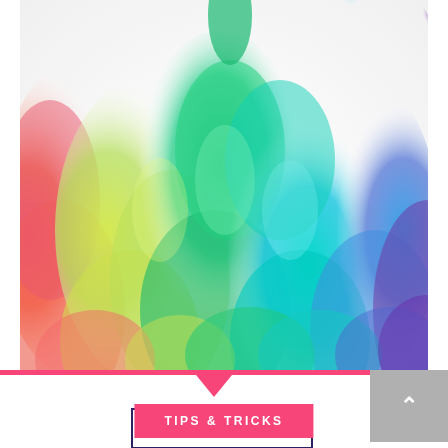[Figure (photo): Colorful ink or smoke clouds dispersed in water against a white background, showing a rainbow of colors from left to right: red/pink, orange, yellow-green, green, teal, blue, and purple.]
TIPS & TRICKS